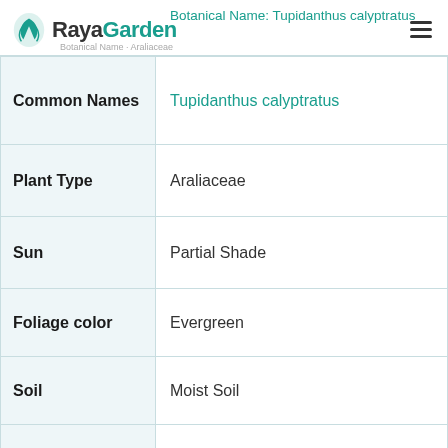RayaGarden — Botanical Name: Tupidanthus calyptratus
| Property | Value |
| --- | --- |
| Common Names | Tupidanthus calyptratus |
| Plant Type | Araliaceae |
| Sun | Partial Shade |
| Foliage color | Evergreen |
| Soil | Moist Soil |
| Native Range | Australia, New Guinea and Java |
| Mature size | 15 - 20 feet high, 15 - 25 feet |